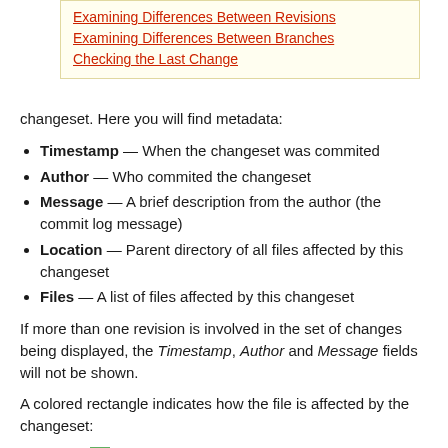[Figure (other): Table of contents box with links: Examining Differences Between Revisions, Examining Differences Between Branches, Checking the Last Change]
changeset. Here you will find metadata:
Timestamp — When the changeset was commited
Author — Who commited the changeset
Message — A brief description from the author (the commit log message)
Location — Parent directory of all files affected by this changeset
Files — A list of files affected by this changeset
If more than one revision is involved in the set of changes being displayed, the Timestamp, Author and Message fields will not be shown.
A colored rectangle indicates how the file is affected by the changeset:
Green: Added
Red: Removed
Yellow: Modified